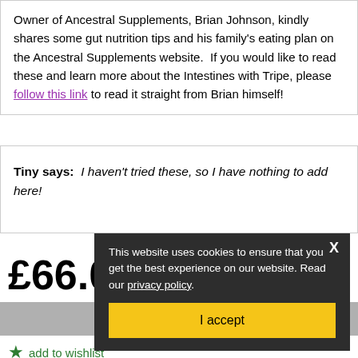Owner of Ancestral Supplements, Brian Johnson, kindly shares some gut nutrition tips and his family's eating plan on the Ancestral Supplements website.  If you would like to read these and learn more about the Intestines with Tripe, please follow this link to read it straight from Brian himself!
Tiny says:  I haven't tried these, so I have nothing to add here!
£66.00
OUT OF STOCK
add to wishlist
This website uses cookies to ensure that you get the best experience on our website. Read our privacy policy. I accept